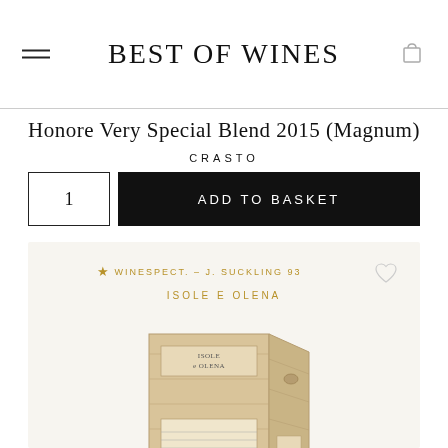BEST OF WINES
Honore Very Special Blend 2015 (Magnum)
CRASTO
1  ADD TO BASKET
[Figure (other): Wine product card showing wooden box labeled ISOLE e OLENA with badge: WINESPECT. - J. SUCKLING 93, heart icon, producer name ISOLE E OLENA]